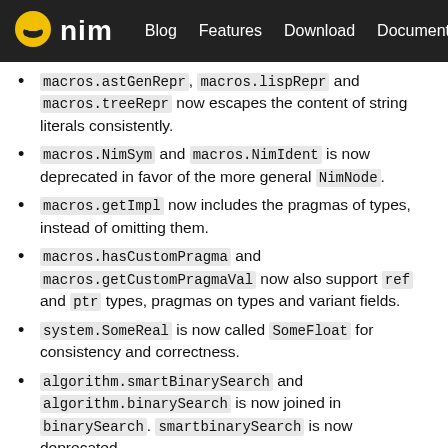nim | Blog | Features | Download | Documentation
macros.astGenRepr, macros.lispRepr and macros.treeRepr now escapes the content of string literals consistently.
macros.NimSym and macros.NimIdent is now deprecated in favor of the more general NimNode.
macros.getImpl now includes the pragmas of types, instead of omitting them.
macros.hasCustomPragma and macros.getCustomPragmaVal now also support ref and ptr types, pragmas on types and variant fields.
system.SomeReal is now called SomeFloat for consistency and correctness.
algorithm.smartBinarySearch and algorithm.binarySearch is now joined in binarySearch. smartBinarySearch is now deprecated.
The terminal module now exports additional